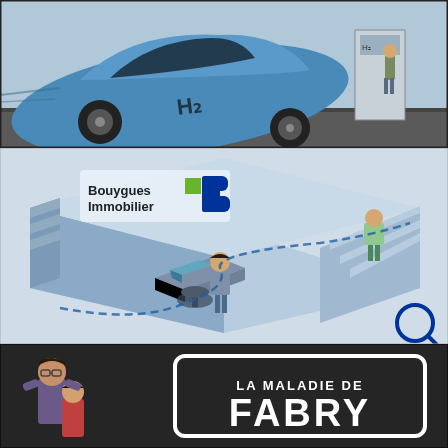[Figure (illustration): Comic-book style illustration of a hydrogen-powered car (labeled H2) overturned or dramatically positioned, in blue tones. A person stands near an H2 station in the background.]
[Figure (infographic): Isometric infographic illustration for Bouygues Immobilier (real estate company). Shows an office/showroom scene with a person at a desk with a laptop, another person standing, and a figure on steps. Dashed blue path connects the elements. Bouygues Immobilier logo visible with green and blue B icon.]
[Figure (illustration): Dark background panel showing two people (a man and a woman) on the left side, and a white bordered box on the right with the text 'LA MALADIE DE FABRY' — appears to be a health awareness or documentary visual.]